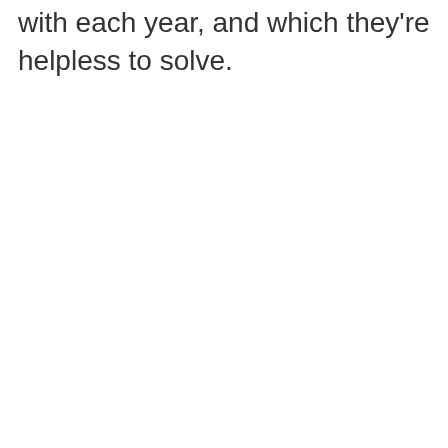with each year, and which they're helpless to solve.